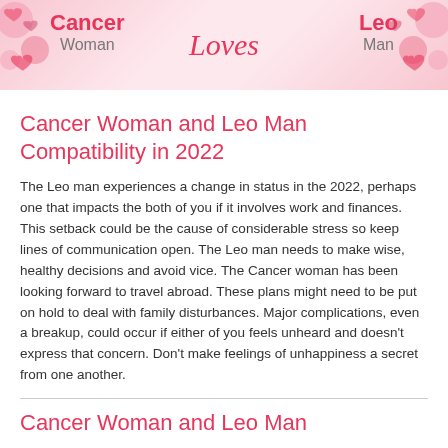[Figure (illustration): Banner image showing Cancer Woman and Leo Man compatibility header with decorative hearts and cursive 'Loves' text in the center]
Cancer Woman and Leo Man Compatibility in 2022
The Leo man experiences a change in status in the 2022, perhaps one that impacts the both of you if it involves work and finances. This setback could be the cause of considerable stress so keep lines of communication open. The Leo man needs to make wise, healthy decisions and avoid vice. The Cancer woman has been looking forward to travel abroad. These plans might need to be put on hold to deal with family disturbances. Major complications, even a breakup, could occur if either of you feels unheard and doesn't express that concern. Don't make feelings of unhappiness a secret from one another.
Cancer Woman and Leo Man